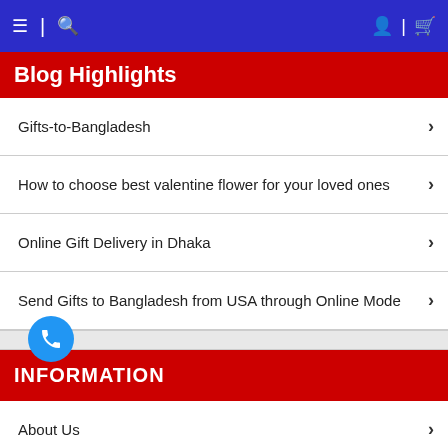≡ 🔍 [nav bar with hamburger, search, user, cart]
Blog Highlights
Gifts-to-Bangladesh
How to choose best valentine flower for your loved ones
Online Gift Delivery in Dhaka
Send Gifts to Bangladesh from USA through Online Mode
INFORMATION
About Us
Contact us
Disclaimer